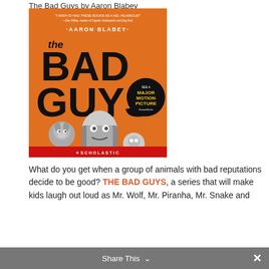The Bad Guys by Aaron Blabey
[Figure (photo): Book cover of 'The Bad Guys' by Aaron Blabey, published by Scholastic. Orange background with cartoon animal characters dressed in suits. Text reads: 'I WISH I'D HAD THESE BOOKS AS A KID. HILARIOUS! —Dav Pilkey, creator of Captain Underpants and Dog Man', AARON BLABEY, the BAD GUYS. Badge: SEE A MAJOR MOTION PICTURE DreamWorks. Scholastic logo at bottom.]
What do you get when a group of animals with bad reputations decide to be good? THE BAD GUYS, a series that will make kids laugh out loud as Mr. Wolf, Mr. Piranha, Mr. Snake and